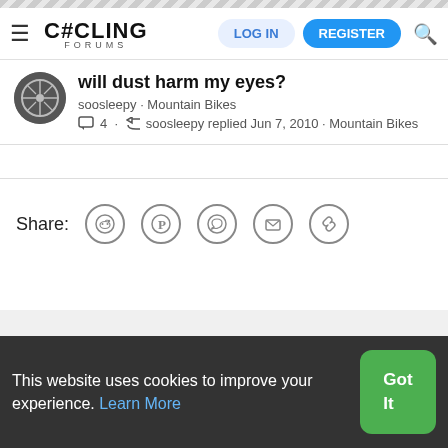Cycling Forums — LOG IN | REGISTER
will dust harm my eyes?
soosleepy · Mountain Bikes
4 · soosleepy replied Jun 7, 2010 · Mountain Bikes
Share:
Contact us  Terms and rules  Privacy policy  Help  Home
This website uses cookies to improve your experience. Learn More  Got It